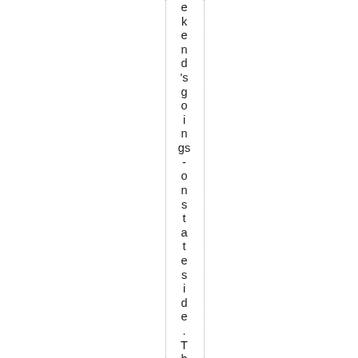ekend's goings- onstateside .The wa